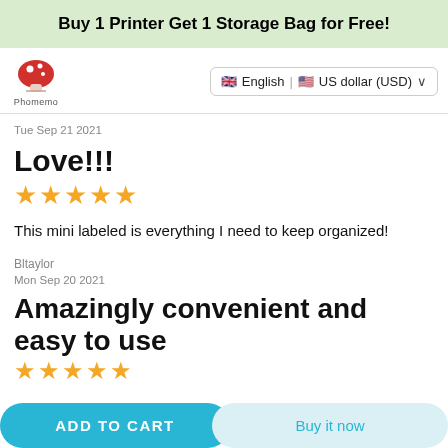Buy 1 Printer Get 1 Storage Bag for Free!
[Figure (logo): Phomemo brand logo: red mushroom icon with white spots and text 'Phomemo' below]
🇬🇧 English | 🇺🇸 US dollar (USD) ∨
Tue Sep 21 2021
Love!!!
★★★★★
This mini labeled is everything I need to keep organized!
Bltaylor
Mon Sep 20 2021
Amazingly convenient and easy to use
★★★★★
ADD TO CART
Buy it now